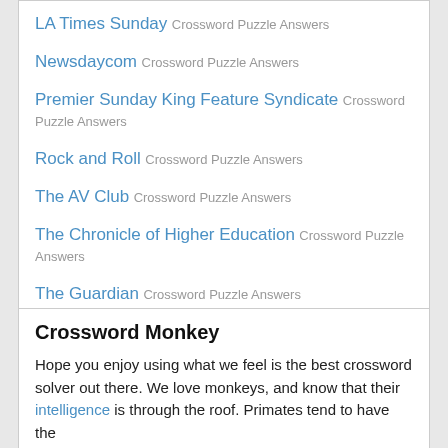LA Times Sunday Crossword Puzzle Answers
Newsdaycom Crossword Puzzle Answers
Premier Sunday King Feature Syndicate Crossword Puzzle Answers
Rock and Roll Crossword Puzzle Answers
The AV Club Crossword Puzzle Answers
The Chronicle of Higher Education Crossword Puzzle Answers
The Guardian Crossword Puzzle Answers
The Guardian Cryptic Crossword Puzzle Answers
Crossword Monkey
Hope you enjoy using what we feel is the best crossword solver out there. We love monkeys, and know that their intelligence is through the roof. Primates tend to have the